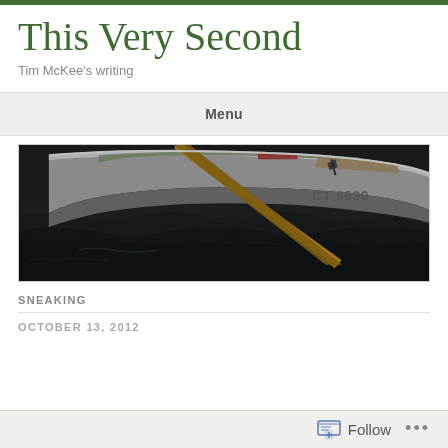This Very Second
Tim McKee's writing
Menu
[Figure (photo): A wooden rowboat on dark water with a wooden oar and the registration number CT 9630 visible on the hull.]
SNEAKING
OCTOBER 13, 2012
Follow